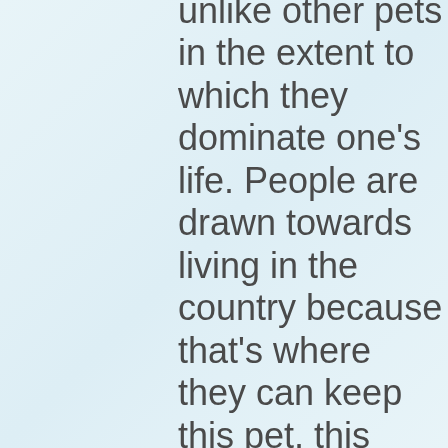unlike other pets in the extent to which they dominate one's life. People are drawn towards living in the country because that's where they can keep this pet, this cross between a dog and a motorbike.